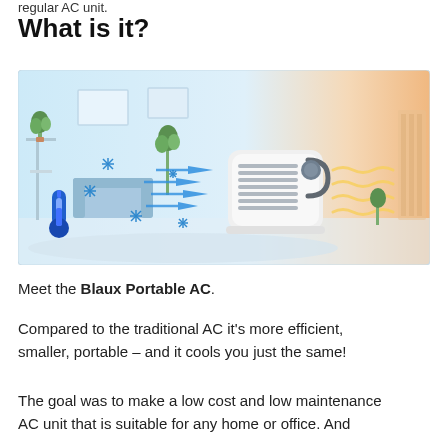regular AC unit.
What is it?
[Figure (photo): Promotional image of the Blaux Portable AC unit. Left side shows a cool blue room interior with snowflake icons and blue airflow arrows emanating from a small white portable AC device. Right side shows warm orange-tinted air. A blue thermometer icon is in the lower left corner.]
Meet the Blaux Portable AC.
Compared to the traditional AC it's more efficient, smaller, portable – and it cools you just the same!
The goal was to make a low cost and low maintenance AC unit that is suitable for any home or office. And